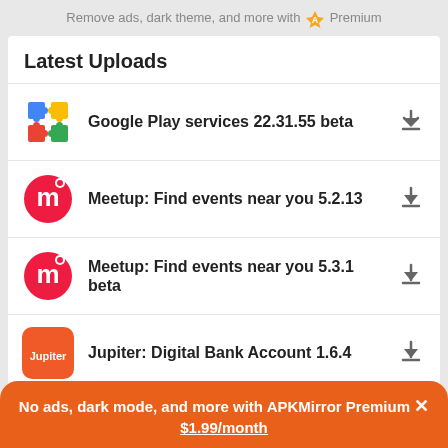Remove ads, dark theme, and more with A Premium
Latest Uploads
Google Play services 22.31.55 beta
Meetup: Find events near you 5.2.13
Meetup: Find events near you 5.3.1 beta
Jupiter: Digital Bank Account 1.6.4
No ads, dark mode, and more with APKMirror Premium × $1.99/month